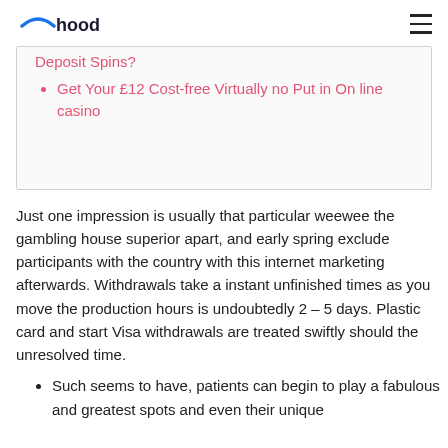hood
Deposit Spins?
Get Your £12 Cost-free Virtually no Put in On line casino
Just one impression is usually that particular weewee the gambling house superior apart, and early spring exclude participants with the country with this internet marketing afterwards. Withdrawals take a instant unfinished times as you move the production hours is undoubtedly 2 – 5 days. Plastic card and start Visa withdrawals are treated swiftly should the unresolved time.
Such seems to have, patients can begin to play a fabulous and greatest spots and even their unique